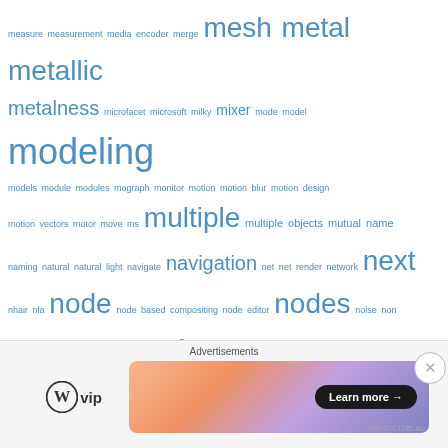[Figure (infographic): Tag cloud of 3D/CG software related terms in various font sizes in blue, including words like modeling, nodes, normal, object, objects, open, Optics & Photometry, osl, output, paint, particles, path, photometric, photorealistic, Photoshop, physics, etc.]
Advertisements
[Figure (logo): WordPress VIP logo with circular W icon and 'vip' text]
[Figure (illustration): Advertisement banner with gradient orange-purple background and 'Learn more →' button]